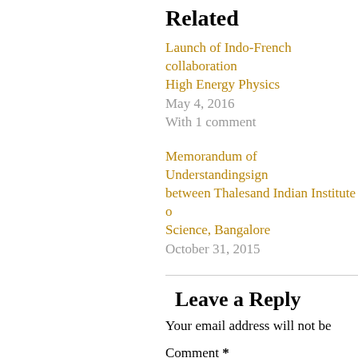Related
Launch of Indo-French collaboration High Energy Physics
May 4, 2016
With 1 comment
Memorandum of Understanding signed between Thales and Indian Institute of Science, Bangalore
October 31, 2015
Leave a Reply
Your email address will not be
Comment *